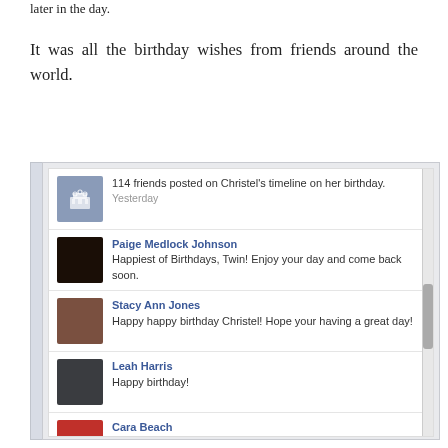later in the day.
It was all the birthday wishes from friends around the world.
[Figure (screenshot): Facebook timeline screenshot showing birthday wishes. '114 friends posted on Christel's timeline on her birthday. Yesterday.' Followed by posts from: Paige Medlock Johnson - 'Happiest of Birthdays, Twin! Enjoy your day and come back soon.', Stacy Ann Jones - 'Happy happy birthday Christel! Hope your having a great day!', Leah Harris - 'Happy birthday!', Cara Beach - 'happy birthday, christel!!!! i love you!!!!!', Joy Johnson - 'Happy birthday, Christel! I hope you have celebrated it in some truly Taiwanese way, so that it is memorable for a long time. :)', Emi Hebert - 'Happy birthday Hatch!! Hope everything is going well!!!', Heidi Weaver - (partial, cut off)]